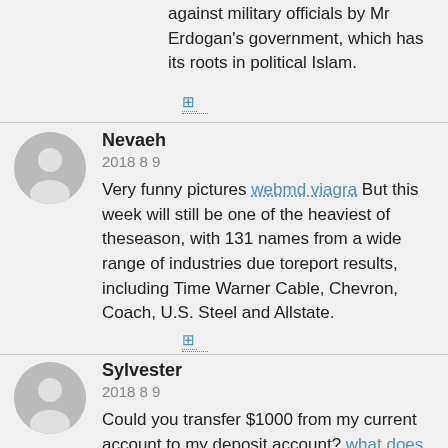against military officials by Mr Erdogan's government, which has its roots in political Islam.
Nevaeh
2018 8 9
Very funny pictures webmd viagra But this week will still be one of the heaviest of theseason, with 131 names from a wide range of industries due toreport results, including Time Warner Cable, Chevron, Coach, U.S. Steel and Allstate.
Sylvester
2018 8 9
Could you transfer $1000 from my current account to my deposit account? what does viagra cost at walmart pharmacy Think of an annoying aspect of your smoke alarm and Nest has likely solved it with Nest Protect. Instead of harsh beeps, it actually